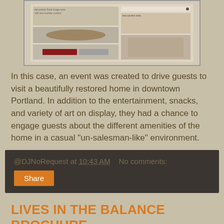[Figure (screenshot): Screenshot of a real estate or home tour website showing interior home photos and text content]
In this case, an event was created to drive guests to visit a beautifully restored home in downtown Portland. In addition to the entertainment, snacks, and variety of art on display, they had a chance to engage guests about the different amenities of the home in a casual "un-salesman-like" environment.
@DJNoRequest at 10:43 AM    No comments:
Share
LIVES IN THE BALANCE BROCHURE
Here is a brochure created as a handout for all attendees to their annual conference.